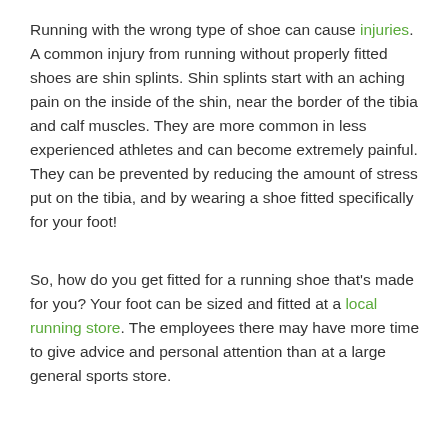Running with the wrong type of shoe can cause injuries. A common injury from running without properly fitted shoes are shin splints. Shin splints start with an aching pain on the inside of the shin, near the border of the tibia and calf muscles. They are more common in less experienced athletes and can become extremely painful. They can be prevented by reducing the amount of stress put on the tibia, and by wearing a shoe fitted specifically for your foot!
So, how do you get fitted for a running shoe that's made for you? Your foot can be sized and fitted at a local running store. The employees there may have more time to give advice and personal attention than at a large general sports store.